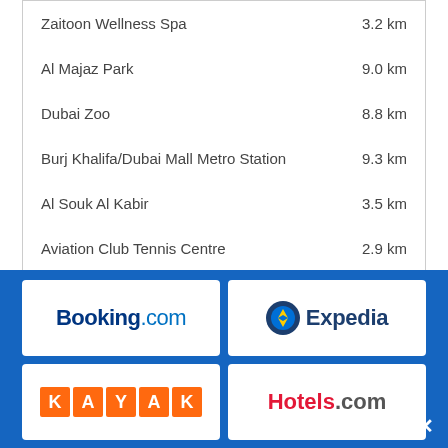| Location | Distance |
| --- | --- |
| Zaitoon Wellness Spa | 3.2 km |
| Al Majaz Park | 9.0 km |
| Dubai Zoo | 8.8 km |
| Burj Khalifa/Dubai Mall Metro Station | 9.3 km |
| Al Souk Al Kabir | 3.5 km |
| Aviation Club Tennis Centre | 2.9 km |
| Location | Distance |
| --- | --- |
| Dubai Dolphinarium | 3.5 km |
| The Green Planet | 9.6 km |
| Majlis Gallery | 3.0 km |
[Figure (logo): Booking.com logo]
[Figure (logo): Expedia logo]
[Figure (logo): KAYAK logo]
[Figure (logo): Hotels.com logo]